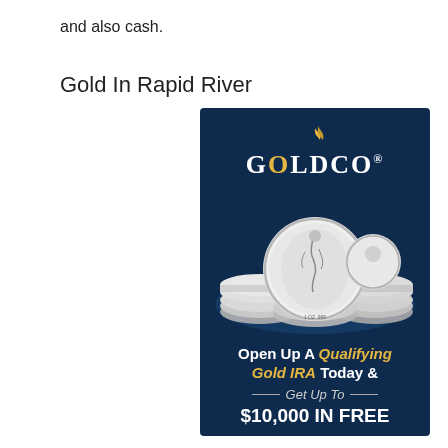and also cash.
Gold In Rapid River
[Figure (advertisement): Goldco advertisement showing silver coins stacked on a dark navy blue background. The Goldco logo appears at the top with a stylized flame. Below the logo are photographic silver coins including American Eagle coins. Text reads: Open Up A Qualifying Gold IRA Today & Get Up To $10,000 IN FREE]